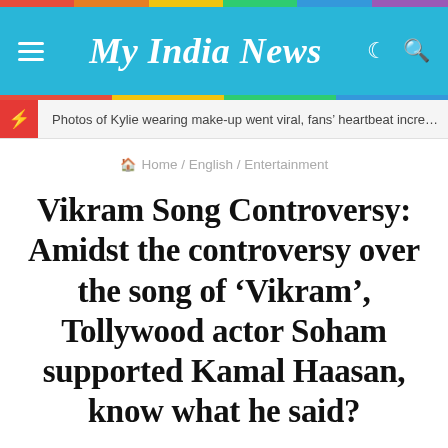My India News
Photos of Kylie wearing make-up went viral, fans' heartbeat increa…
🏠 Home / English / Entertainment
Vikram Song Controversy: Amidst the controversy over the song of 'Vikram', Tollywood actor Soham supported Kamal Haasan, know what he said?